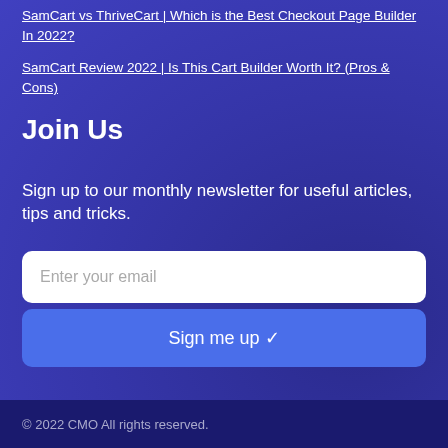SamCart vs ThriveCart | Which is the Best Checkout Page Builder In 2022?
SamCart Review 2022 | Is This Cart Builder Worth It? (Pros & Cons)
Join Us
Sign up to our monthly newsletter for useful articles, tips and tricks.
© 2022 CMO All rights reserved.